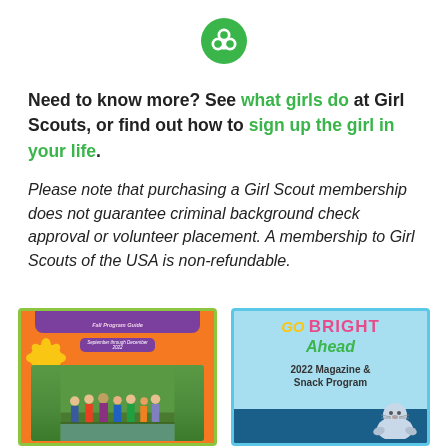[Figure (logo): Girl Scouts trefoil logo — green circle with white trefoil silhouette]
Need to know more? See what girls do at Girl Scouts, or find out how to sign up the girl in your life.
Please note that purchasing a Girl Scout membership does not guarantee criminal background check approval or volunteer placement. A membership to Girl Scouts of the USA is non-refundable.
[Figure (photo): Fall Program Guide booklet cover — orange background with sunflower graphic and photo of girls outdoors, titled 'Fall Program Guide, September through December 2022']
[Figure (illustration): Go Bright Ahead 2022 Magazine & Snack Program promotional image — light blue background with colorful text and cartoon seal]